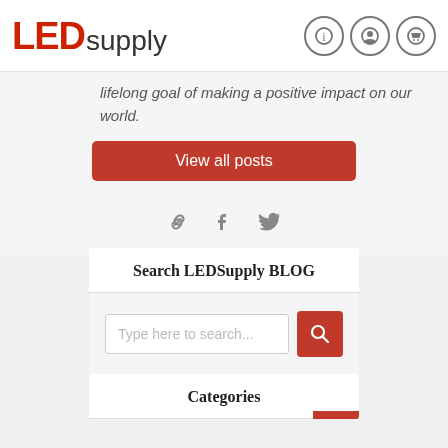LEDsupply
lifelong goal of making a positive impact on our world.
View all posts
Search LEDSupply BLOG
Type here to search...
Categories